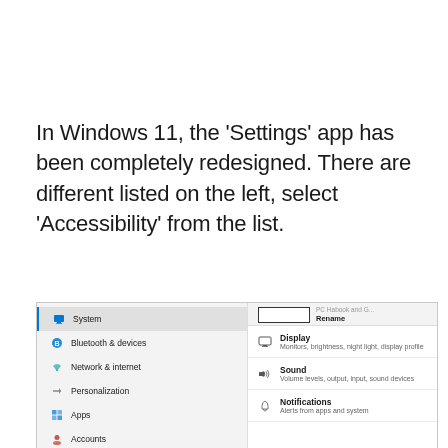In Windows 11, the 'Settings' app has been completely redesigned. There are different listed on the left, select 'Accessibility' from the list.
[Figure (screenshot): Windows 11 Settings app screenshot showing left navigation panel with items: System (active/highlighted), Bluetooth & devices, Network & internet, Personalization, Apps, Accounts, Time & language. Right panel shows partially visible settings items: Display (Monitors, brightness, night light, display profile), Sound (Volume levels, output, input, sound devices), Notifications (Alerts from apps and system). A rename text box is visible at the top of the right panel.]